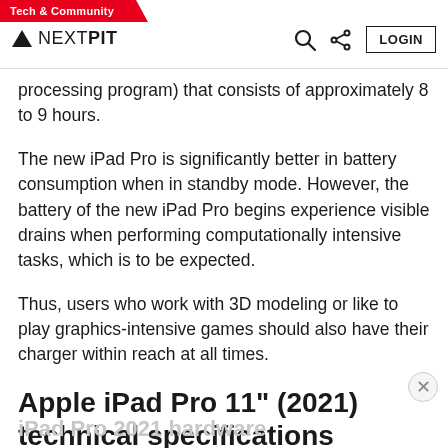Tech & Community | NEXTPIT | LOGIN
processing program) that consists of approximately 8 to 9 hours.
The new iPad Pro is significantly better in battery consumption when in standby mode. However, the battery of the new iPad Pro begins experience visible drains when performing computationally intensive tasks, which is to be expected.
Thus, users who work with 3D modeling or like to play graphics-intensive games should also have their charger within reach at all times.
Apple iPad Pro 11" (2021) technical specifications
iPad Pro 2021 hardware